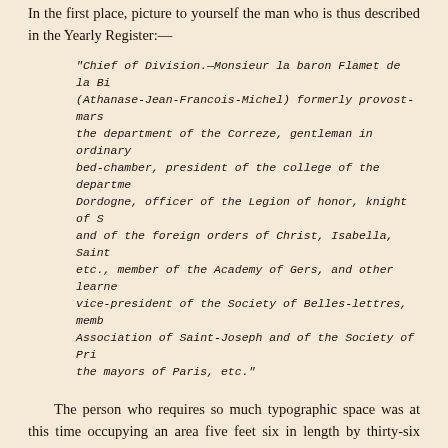In the first place, picture to yourself the man who is thus described in the Yearly Register:—
"Chief of Division.—Monsieur la baron Flamet de la Billardiere (Athanase-Jean-Francois-Michel) formerly provost-marshal of the department of the Correze, gentleman in ordinary of the bed-chamber, president of the college of the department of the Dordogne, officer of the Legion of honor, knight of Saint-Michel and of the foreign orders of Christ, Isabella, Saint-Stanislas, etc., member of the Academy of Gers, and other learned societies, vice-president of the Society of Belles-lettres, member of the Association of Saint-Joseph and of the Society of Prisons and of the mayors of Paris, etc."
The person who requires so much typographic space was at this time occupying an area five feet six in length by thirty-six inches in width in a bed, his head adorned with a cotton nightcap tied on by flame-colored ribbons; attended by Despleins, the King's surgeon, and young doctor Bianchon, flanked by two old female relatives, surrounded by phials of all kinds, bandages, appliances, and various mortuary instruments, and watched over by the curate of Saint-Roch, who was advising him to think of his salvation.
La Billardiere's division occupied the upper floor of a magnificent mansion, in which the vast official ocean of a ministry was contained. A wide landing separated its two bureaus, the doors of which were duly labelled. The private